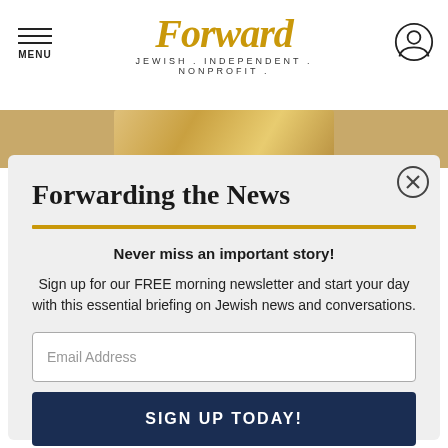MENU | Forward | JEWISH . INDEPENDENT . NONPROFIT .
[Figure (photo): Partial image of braided bread (challah) visible as an image strip behind the modal]
Forwarding the News
Never miss an important story!
Sign up for our FREE morning newsletter and start your day with this essential briefing on Jewish news and conversations.
Email Address
SIGN UP TODAY!